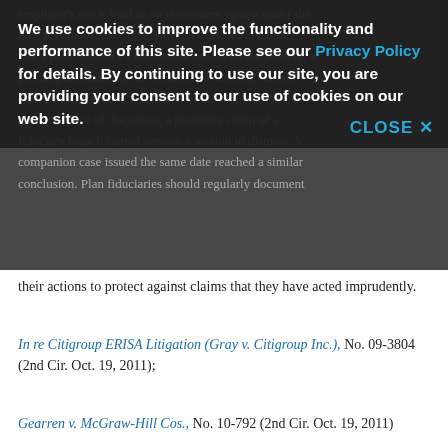employer's stock fund as an investment option under the plan was reasonable. The Moench standard presumes that a plan fiduciary's investment decisions are prudent, a presumption that may be rebutted by showing that the fiduciary had abused its discretion. Absent evidence of such an abuse of discretion, a plaintiff's claim of a fiduciary breach cannot survive a motion to dismiss. A companion case issued the same date reached a similar conclusion. Plan fiduciaries should regularly document their actions to protect against claims that they have acted imprudently.
We use cookies to improve the functionality and performance of this site. Please see our Privacy Policy for details. By continuing to use our site, you are providing your consent to our use of cookies on our web site.
In re Citigroup ERISA Litigation (Gray v. Citigroup Inc.), No. 09-3804 (2nd Cir. Oct. 19, 2011);
Gearren v. McGraw-Hill Cos., No. 10-792 (2nd Cir. Oct. 19, 2011)
Punitive Damages Award Not Upheld Against